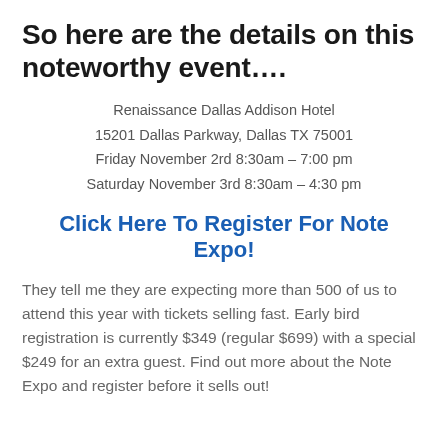So here are the details on this noteworthy event….
Renaissance Dallas Addison Hotel
15201 Dallas Parkway, Dallas TX 75001
Friday November 2rd 8:30am – 7:00 pm
Saturday November 3rd 8:30am – 4:30 pm
Click Here To Register For Note Expo!
They tell me they are expecting more than 500 of us to attend this year with tickets selling fast. Early bird registration is currently $349 (regular $699) with a special $249 for an extra guest. Find out more about the Note Expo and register before it sells out!